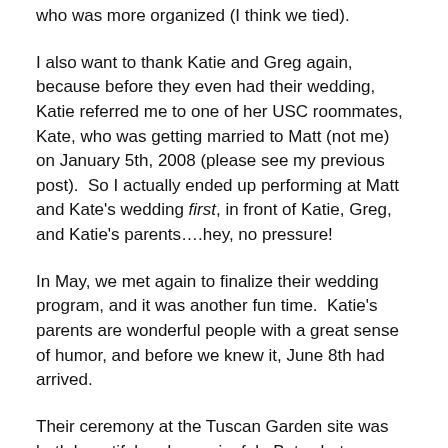who was more organized (I think we tied).
I also want to thank Katie and Greg again, because before they even had their wedding, Katie referred me to one of her USC roommates, Kate, who was getting married to Matt (not me) on January 5th, 2008 (please see my previous post).  So I actually ended up performing at Matt and Kate's wedding first, in front of Katie, Greg, and Katie's parents….hey, no pressure!
In May, we met again to finalize their wedding program, and it was another fun time.  Katie's parents are wonderful people with a great sense of humor, and before we knew it, June 8th had arrived.
Their ceremony at the Tuscan Garden site was both beautiful and meaningful.  But, what was this?  At the end of their ceremony, their guests remained seated as the